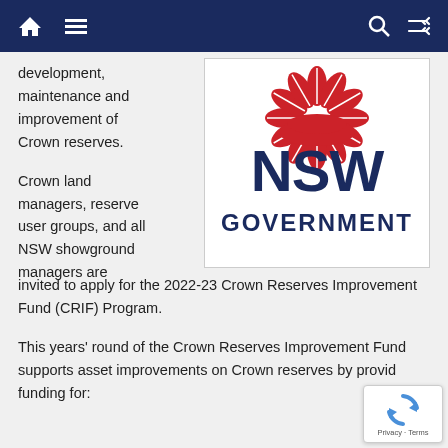NSW Government website navigation bar
development, maintenance and improvement of Crown reserves.
[Figure (logo): NSW Government logo with red waratah flower emblem and blue NSW GOVERNMENT text]
Crown land managers, reserve user groups, and all NSW showground managers are invited to apply for the 2022-23 Crown Reserves Improvement Fund (CRIF) Program.
This years' round of the Crown Reserves Improvement Fund supports asset improvements on Crown reserves by providing funding for: